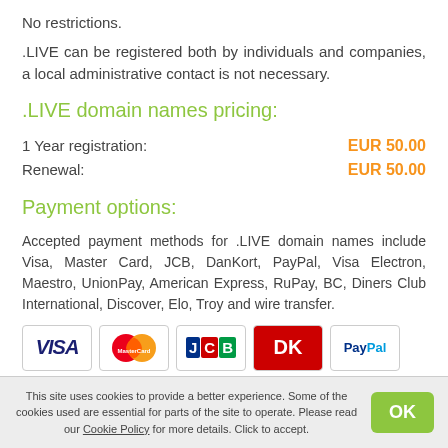No restrictions.
.LIVE can be registered both by individuals and companies, a local administrative contact is not necessary.
.LIVE domain names pricing:
|  | Price |
| --- | --- |
| 1 Year registration: | EUR 50.00 |
| Renewal: | EUR 50.00 |
Payment options:
Accepted payment methods for .LIVE domain names include Visa, Master Card, JCB, DanKort, PayPal, Visa Electron, Maestro, UnionPay, American Express, RuPay, BC, Diners Club International, Discover, Elo, Troy and wire transfer.
[Figure (logo): Payment card logos: Visa, MasterCard, JCB, DK (DanKort), PayPal]
This site uses cookies to provide a better experience. Some of the cookies used are essential for parts of the site to operate. Please read our Cookie Policy for more details. Click to accept.